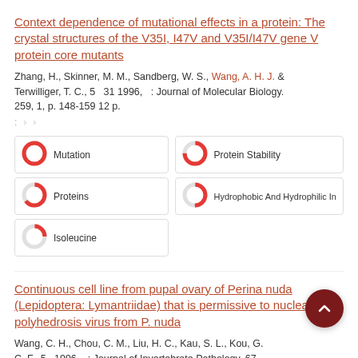Context dependence of mutational effects in a protein: The crystal structures of the V35I, I47V and V35I/I47V gene V protein core mutants
Zhang, H., Skinner, M. M., Sandberg, W. S., Wang, A. H. J. & Terwilliger, T. C., 5  31 1996,  : Journal of Molecular Biology. 259, 1, p. 148-159 12 p.
[Figure (infographic): Keyword badges with donut-style percentage icons: Mutation (100%), Protein Stability (~75%), Proteins (~65%), Hydrophobic And Hydrophilic Interactions (~50%), Isoleucine (~25%)]
Continuous cell line from pupal ovary of Perina nuda (Lepidoptera: Lymantriidae) that is permissive to nuclear polyhedrosis virus from P. nuda
Wang, C. H., Chou, C. M., Liu, H. C., Kau, S. L., Kou, G. C. F., 5  1996,  : Journal of Invertebrate Pathology. 67, 199-204 6 p.